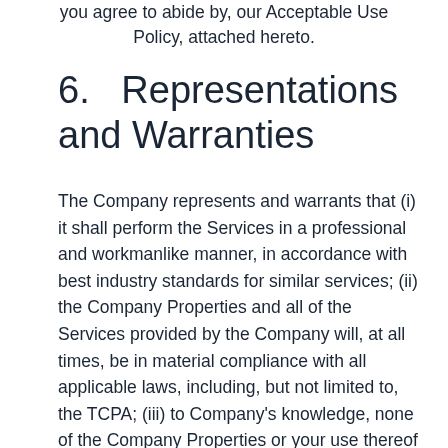you agree to abide by, our Acceptable Use Policy, attached hereto.
6.   Representations and Warranties
The Company represents and warrants that (i) it shall perform the Services in a professional and workmanlike manner, in accordance with best industry standards for similar services; (ii) the Company Properties and all of the Services provided by the Company will, at all times, be in material compliance with all applicable laws, including, but not limited to, the TCPA; (iii) to Company's knowledge, none of the Company Properties or your use thereof infringe or will infringe any intellectual property right of